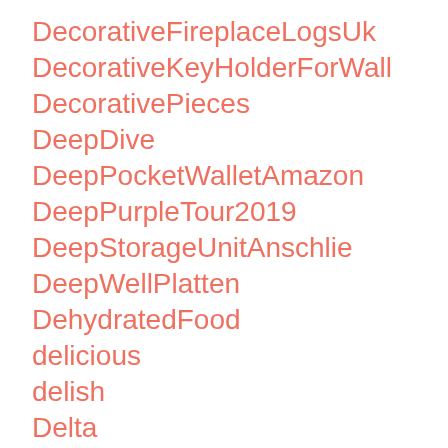DecorativeFireplaceLogsUk
DecorativeKeyHolderForWall
DecorativePieces
DeepDive
DeepPocketWalletAmazon
DeepPurpleTour2019
DeepStorageUnitAnschlie
DeepWellPlatten
DehydratedFood
delicious
delish
Delta
DeltaReserveCreditCardFromAmericanExpress
DeltaSkyMiles